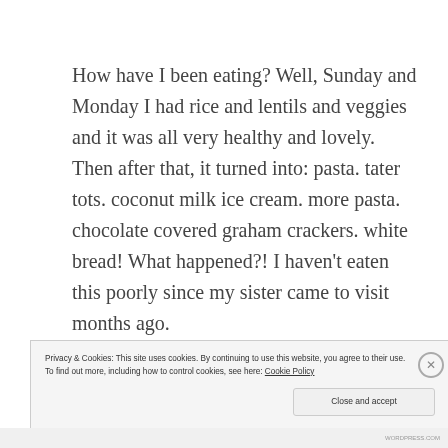How have I been eating? Well, Sunday and Monday I had rice and lentils and veggies and it was all very healthy and lovely. Then after that, it turned into: pasta. tater tots. coconut milk ice cream. more pasta. chocolate covered graham crackers. white bread! What happened?! I haven't eaten this poorly since my sister came to visit months ago.
(partial, obscured by cookie banner)
Privacy & Cookies: This site uses cookies. By continuing to use this website, you agree to their use.
To find out more, including how to control cookies, see here: Cookie Policy
Close and accept
WORDPRESS.COM